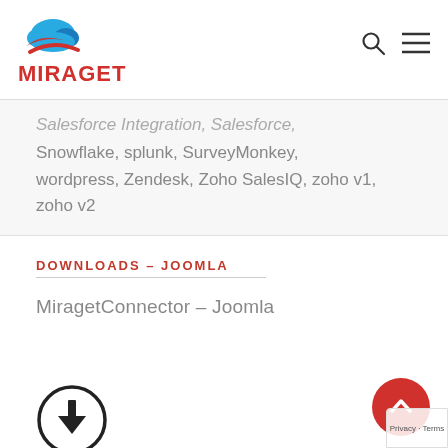[Figure (logo): Miraget logo: cloud icon with red/blue colors above the text MIRAGET in red bold letters]
Snowflake, splunk, SurveyMonkey, wordpress, Zendesk, Zoho SalesIQ, zoho v1, zoho v2
DOWNLOADS – JOOMLA
MiragetConnector  –  Joomla
[Figure (illustration): Download icon: circle with downward arrow]